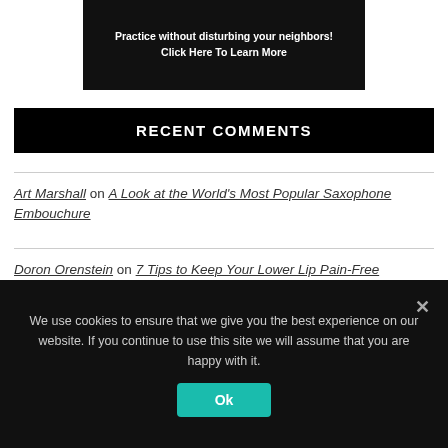[Figure (infographic): Advertisement banner with dark background showing text: Practice without disturbing your neighbors! Click Here To Learn More]
RECENT COMMENTS
Art Marshall on A Look at the World's Most Popular Saxophone Embouchure
Doron Orenstein on 7 Tips to Keep Your Lower Lip Pain-Free
We use cookies to ensure that we give you the best experience on our website. If you continue to use this site we will assume that you are happy with it.